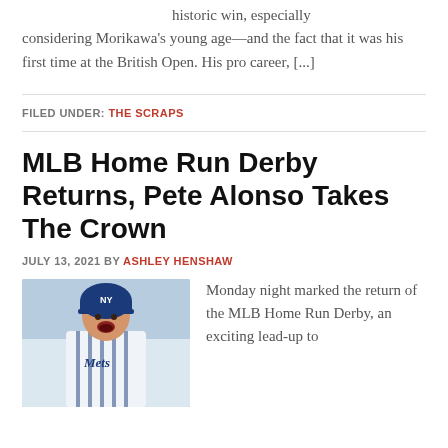historic win, especially considering Morikawa's young age—and the fact that it was his first time at the British Open. His pro career, [...]
FILED UNDER: THE SCRAPS
MLB Home Run Derby Returns, Pete Alonso Takes The Crown
JULY 13, 2021 BY ASHLEY HENSHAW
[Figure (photo): Photo of Pete Alonso (Mets player) celebrating, wearing white Mets uniform and blue helmet, mouth open in celebration]
Monday night marked the return of the MLB Home Run Derby, an exciting lead-up to